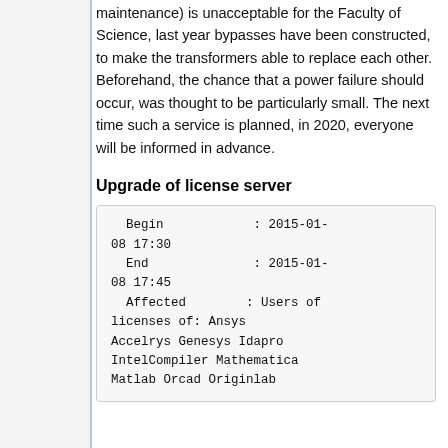maintenance) is unacceptable for the Faculty of Science, last year bypasses have been constructed, to make the transformers able to replace each other. Beforehand, the chance that a power failure should occur, was thought to be particularly small. The next time such a service is planned, in 2020, everyone will be informed in advance.
Upgrade of license server
Begin           : 2015-01-08 17:30
End             : 2015-01-08 17:45
Affected        : Users of licenses of: Ansys Accelrys Genesys Idapro IntelCompiler Mathematica Matlab Orcad Originlab